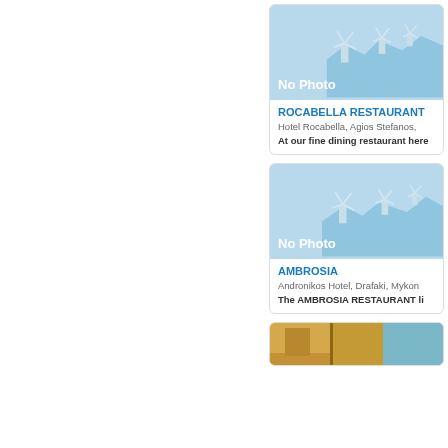[Figure (illustration): No Photo placeholder image with Greek windmill silhouette illustration for Rocabella Restaurant]
ROCABELLA RESTAURANT
Hotel Rocabella, Agios Stefanos,
At our fine dining restaurant here
[Figure (illustration): No Photo placeholder image with Greek windmill silhouette illustration for Ambrosia]
AMBROSIA
Andronikos Hotel, Drafaki, Mykon
The AMBROSIA RESTAURANT li
[Figure (photo): Partial photo visible at bottom of page for a third restaurant listing]